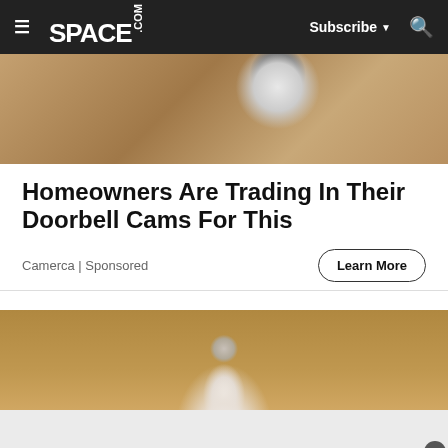SPACE.com — Subscribe — Search
[Figure (photo): Top portion of a security camera mounted on a stone/textured wall, showing the white circular camera body with LED lights]
Homeowners Are Trading In Their Doorbell Cams For This
Camerca | Sponsored
Learn More
[Figure (photo): A hand holding a white smart light bulb camera against a wooden shelf/counter background]